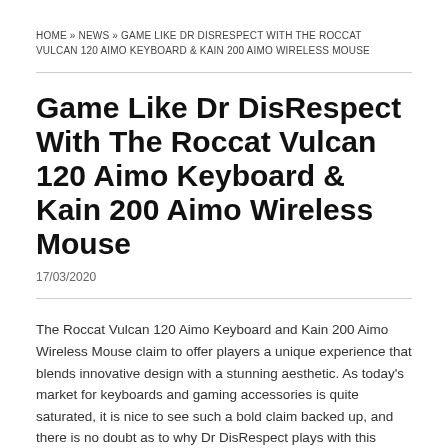HOME » NEWS » GAME LIKE DR DISRESPECT WITH THE ROCCAT VULCAN 120 AIMO KEYBOARD & KAIN 200 AIMO WIRELESS MOUSE
Game Like Dr DisRespect With The Roccat Vulcan 120 Aimo Keyboard & Kain 200 Aimo Wireless Mouse
17/03/2020
The Roccat Vulcan 120 Aimo Keyboard and Kain 200 Aimo Wireless Mouse claim to offer players a unique experience that blends innovative design with a stunning aesthetic. As today's market for keyboards and gaming accessories is quite saturated, it is nice to see such a bold claim backed up, and there is no doubt as to why Dr DisRespect plays with this combination of keyboard and mouse series.